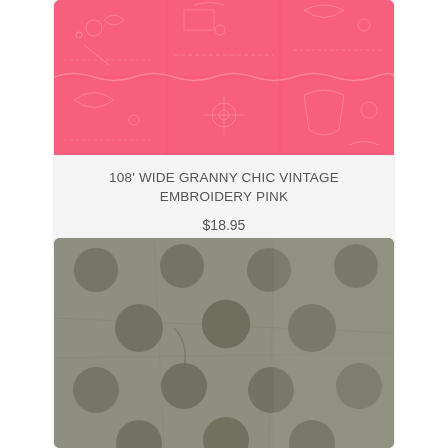[Figure (photo): Pink fabric with white vintage embroidery floral pattern on coral/salmon pink background]
108' WIDE GRANNY CHIC VINTAGE EMBROIDERY PINK
$18.95
[Figure (photo): Gray fabric with large dark gray polka dots on mottled/distressed gray background]